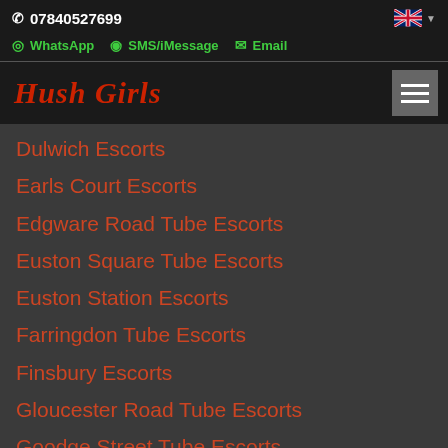📞 07840527699
WhatsApp  SMS/iMessage  Email
Hush Girls
Dulwich Escorts
Earls Court Escorts
Edgware Road Tube Escorts
Euston Square Tube Escorts
Euston Station Escorts
Farringdon Tube Escorts
Finsbury Escorts
Gloucester Road Tube Escorts
Goodge Street Tube Escorts
Great Portland Street Tube Escorts
Green Park Tube Escorts